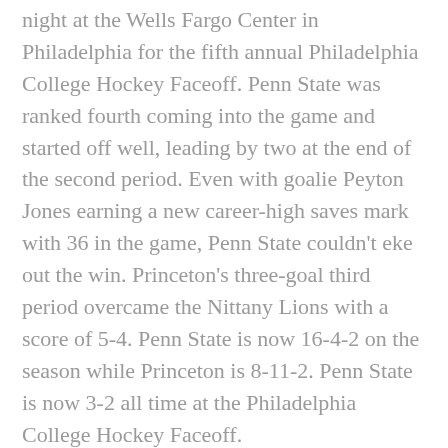night at the Wells Fargo Center in Philadelphia for the fifth annual Philadelphia College Hockey Faceoff. Penn State was ranked fourth coming into the game and started off well, leading by two at the end of the second period. Even with goalie Peyton Jones earning a new career-high saves mark with 36 in the game, Penn State couldn't eke out the win. Princeton's three-goal third period overcame the Nittany Lions with a score of 5-4. Penn State is now 16-4-2 on the season while Princeton is 8-11-2. Penn State is now 3-2 all time at the Philadelphia College Hockey Faceoff.
Here are the position grades for the match.
Offense: C
For much of the game, Penn State's offense was all but...